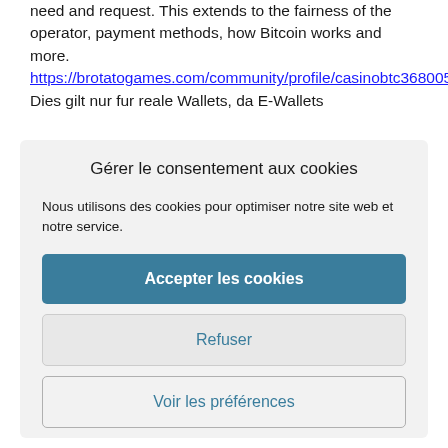need and request. This extends to the fairness of the operator, payment methods, how Bitcoin works and more. https://brotatogames.com/community/profile/casinobtc36800531/ Dies gilt nur fur reale Wallets, da E-Wallets
Gérer le consentement aux cookies
Nous utilisons des cookies pour optimiser notre site web et notre service.
Accepter les cookies
Refuser
Voir les préférences